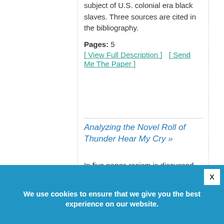subject of U.S. colonial era black slaves. Three sources are cited in the bibliography.
Pages: 5
[ View Full Description ]    [ Send Me The Paper ]
Analyzing the Novel Roll of Thunder Hear My Cry »
In five pages racism is discussed within the context of the novel and what can be learned as a result of reading this text about life and racism in the American South. There
We use cookies to ensure that we give you the best experience on our website.